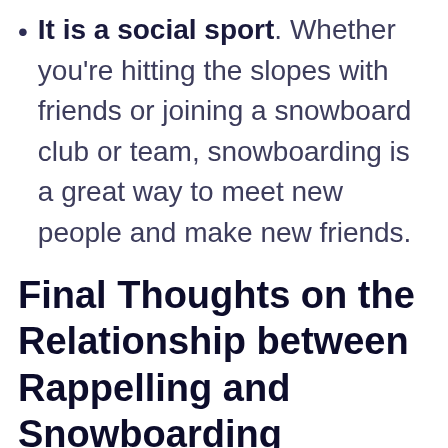It is a social sport. Whether you're hitting the slopes with friends or joining a snowboard club or team, snowboarding is a great way to meet new people and make new friends.
Final Thoughts on the Relationship between Rappelling and Snowboarding